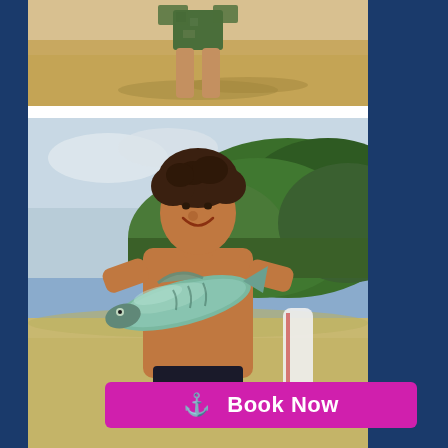[Figure (photo): Top photo: partial view of a person from waist down wearing colorful board shorts, standing on a sandy beach]
[Figure (photo): Bottom photo: shirtless man with curly hair, smiling broadly, holding a large fish (tuna/mackerel) on a sandy beach with green forested hills in the background and a surfboard visible]
⚓ Book Now